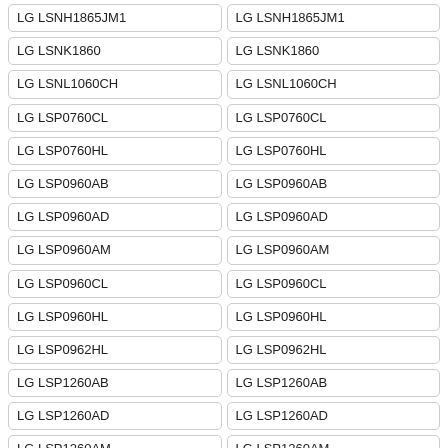| Model | Model |
| --- | --- |
| LG LSNH1865JM1 | LG LSNH1865JM1 |
| LG LSNK1860 | LG LSNK1860 |
| LG LSNL1060CH | LG LSNL1060CH |
| LG LSP0760CL | LG LSP0760CL |
| LG LSP0760HL | LG LSP0760HL |
| LG LSP0960AB | LG LSP0960AB |
| LG LSP0960AD | LG LSP0960AD |
| LG LSP0960AM | LG LSP0960AM |
| LG LSP0960CL | LG LSP0960CL |
| LG LSP0960HL | LG LSP0960HL |
| LG LSP0962HL | LG LSP0962HL |
| LG LSP1260AB | LG LSP1260AB |
| LG LSP1260AD | LG LSP1260AD |
| LG LSP1260AM | LG LSP1260AM |
| LG LSP1260BB | LG LSP1260BB |
| LG LSP1260BD | LG LSP1260BD |
| LG LSP1260BM | LG LSP1260BM |
| LG LSP1260PB | LG LSP1260PB |